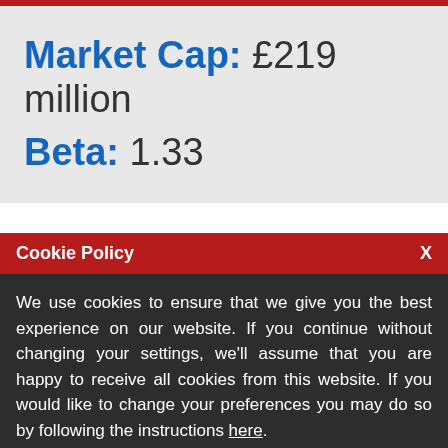Market Cap: £219 million
Beta: 1.33
Cookie Policy
We use cookies to ensure that we give you the best experience on our website. If you continue without changing your settings, we'll assume that you are happy to receive all cookies from this website. If you would like to change your preferences you may do so by following the instructions here.